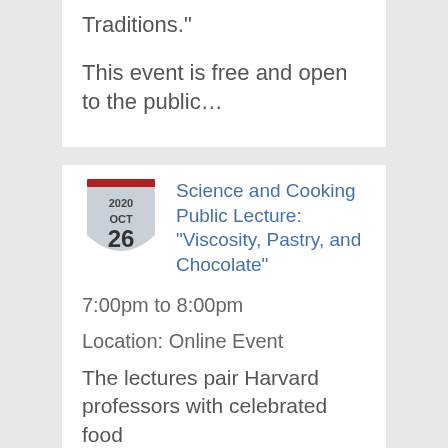Traditions."
This event is free and open to the public…
[Figure (other): Shield/badge icon with date 2020 OCT 26]
Science and Cooking Public Lecture: “Viscosity, Pastry, and Chocolate”
7:00pm to 8:00pm
Location: Online Event
The lectures pair Harvard professors with celebrated food